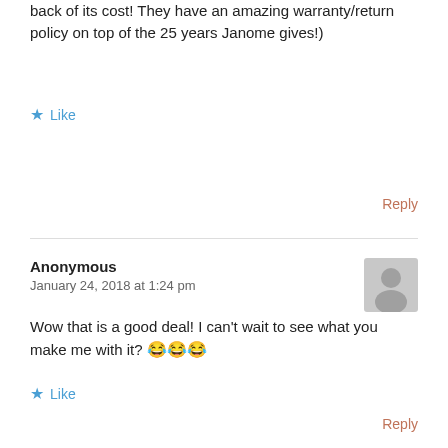back of its cost! They have an amazing warranty/return policy on top of the 25 years Janome gives!)
★ Like
Reply
Anonymous
January 24, 2018 at 1:24 pm
Wow that is a good deal! I can't wait to see what you make me with it? 😂😂😂
★ Like
Reply